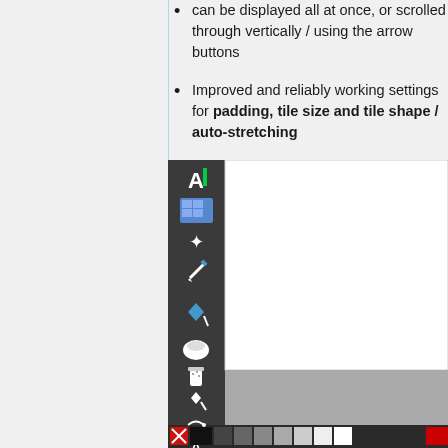can be displayed all at once, or scrolled through vertically / using the arrow buttons
Improved and reliably working settings for padding, tile size and tile shape / auto-stretching
[Figure (screenshot): Software UI screenshot showing a dark toolbar on the left with various tool icons (text A, selection grid, rotate, pencil, fill/paint, eraser, spray, diamond/wand, path, text A, magnifier/zoom), a white canvas area in the upper right, and a gray region below the canvas, with a color swatch bar at the bottom showing black, grays, white, and red swatches.]